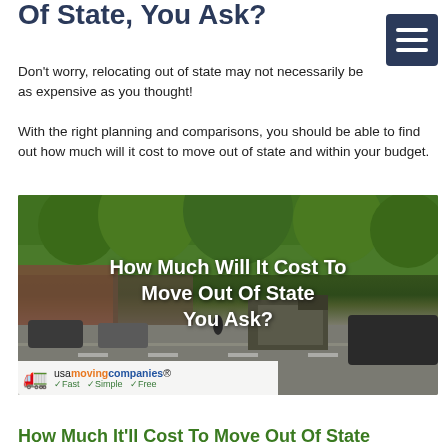Of State, You Ask?
Don't worry, relocating out of state may not necessarily be as expensive as you thought!
With the right planning and comparisons, you should be able to find out how much will it cost to move out of state and within your budget.
[Figure (photo): Street scene with moving truck and text overlay reading 'How Much Will It Cost To Move Out Of State You Ask?' with usamovingcompanies banner at bottom showing Fast, Simple, Free]
How Much It'll Cost To Move Out Of State